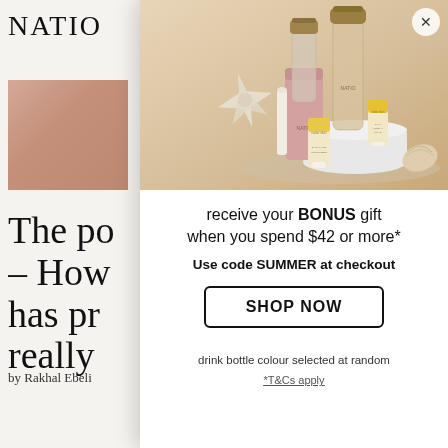NATIO
[Figure (photo): Partially visible skin-toned background article image]
The po – How has pr really
by Rakhal Ebeli
L ifestyle em well known
[Figure (photo): Modal popup showing NATIO skincare products including glass water bottles with bamboo lids, pink sleeve, cream tubes, set on a beach-themed surface with starfish and shell]
receive your BONUS gift when you spend $42 or more*
Use code SUMMER at checkout
SHOP NOW
drink bottle colour selected at random
*T&Cs apply